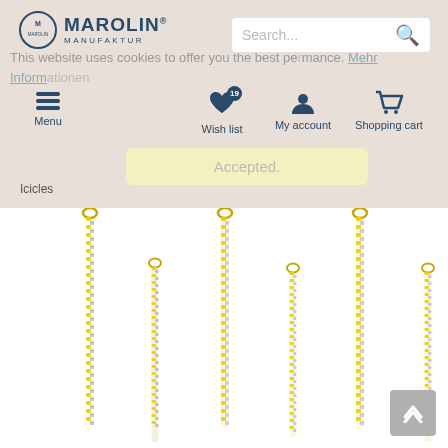[Figure (logo): Marolin Manufaktur logo with circular emblem and text]
This website uses cookies to offer you the best performance. Mehr Informationen
[Figure (screenshot): Navigation bar with Menu, Wish list (badge: 19), My account, Shopping cart icons]
Accepted.
Icicles
[Figure (photo): Product photo of multiple gold/silver twisted icicle Christmas ornaments of varying heights against white background]